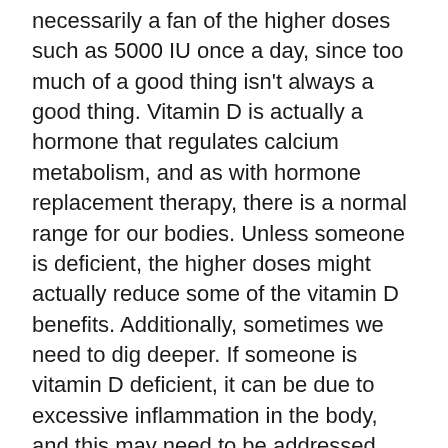necessarily a fan of the higher doses such as 5000 IU once a day, since too much of a good thing isn't always a good thing. Vitamin D is actually a hormone that regulates calcium metabolism, and as with hormone replacement therapy, there is a normal range for our bodies. Unless someone is deficient, the higher doses might actually reduce some of the vitamin D benefits. Additionally, sometimes we need to dig deeper. If someone is vitamin D deficient, it can be due to excessive inflammation in the body, and this may need to be addressed more than the vitamin D levels
Adequate vitamin D is associated with many health benefits including stronger bones, lower rates of influenza, reduced blood pressure, and reduced breast and colon cancer risk, but some of the benefits go away if people take too much. Therefore, I have been